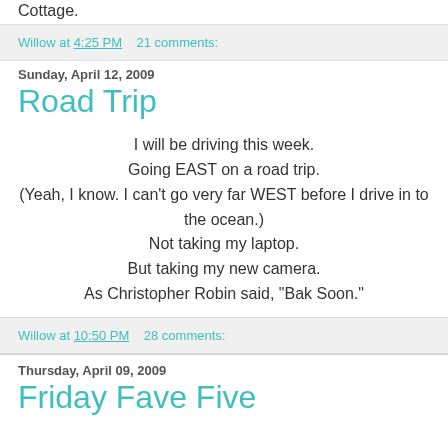Cottage.
Willow at 4:25 PM    21 comments:
Sunday, April 12, 2009
Road Trip
I will be driving this week.
Going EAST on a road trip.
(Yeah, I know. I can't go very far WEST before I drive in to the ocean.)
Not taking my laptop.
But taking my new camera.
As Christopher Robin said, "Bak Soon."
Willow at 10:50 PM    28 comments:
Thursday, April 09, 2009
Friday Fave Five